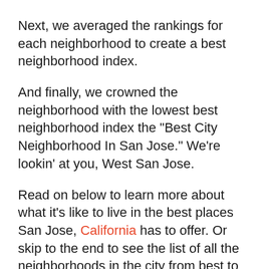Next, we averaged the rankings for each neighborhood to create a best neighborhood index.
And finally, we crowned the neighborhood with the lowest best neighborhood index the "Best City Neighborhood In San Jose." We're lookin' at you, West San Jose.
Read on below to learn more about what it's like to live in the best places San Jose, California has to offer. Or skip to the end to see the list of all the neighborhoods in the city from best to worst.
Summary: Putting A Bow On Our